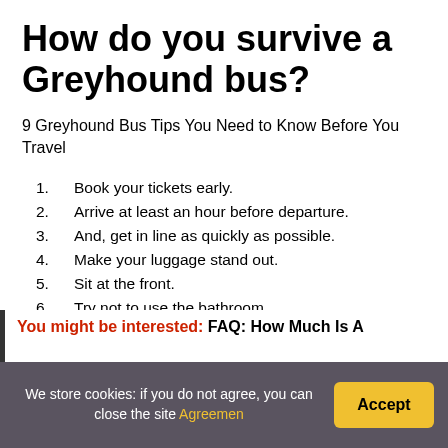How do you survive a Greyhound bus?
9 Greyhound Bus Tips You Need to Know Before You Travel
Book your tickets early.
Arrive at least an hour before departure.
And, get in line as quickly as possible.
Make your luggage stand out.
Sit at the front.
Try not to use the bathroom.
Follow the driver's rules during stops and transfers.
Keep your carry-on bag and ticket with you at all times.
You might be interested: FAQ: How Much Is A
We store cookies: if you do not agree, you can close the site Agreement